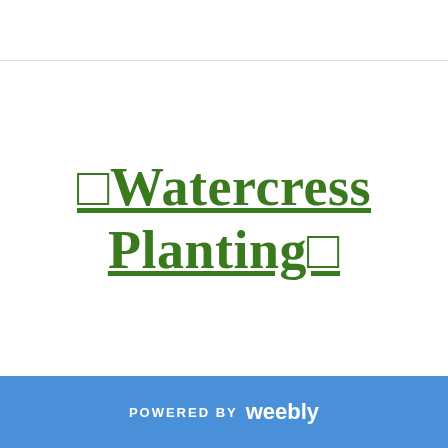□Watercress Planting□
POWERED BY weebly